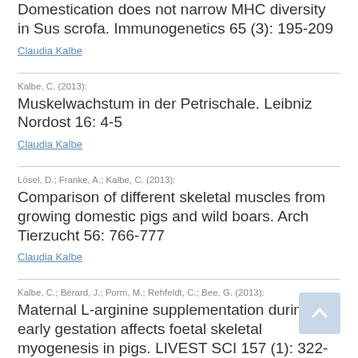Domestication does not narrow MHC diversity in Sus scrofa. Immunogenetics 65 (3): 195-209
Claudia Kalbe
Kalbe, C. (2013):
Muskelwachstum in der Petrischale. Leibniz Nordost 16: 4-5
Claudia Kalbe
Lösel, D.; Franke, A.; Kalbe, C. (2013):
Comparison of different skeletal muscles from growing domestic pigs and wild boars. Arch Tierzucht 56: 766-777
Claudia Kalbe
Kalbe, C.; Bérard, J.; Porm, M.; Rehfeldt, C.; Bee, G. (2013):
Maternal L-arginine supplementation during early gestation affects foetal skeletal myogenesis in pigs. LIVEST SCI 157 (1): 322-329
Claudia Kalbe